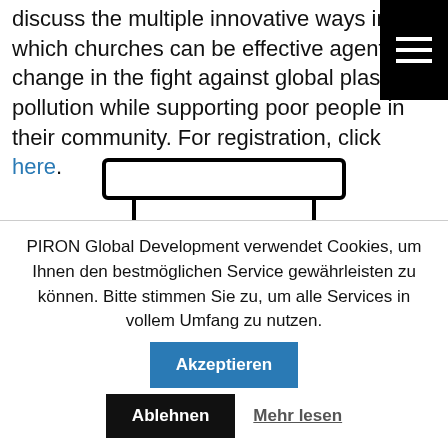discuss the multiple innovative ways in which churches can be effective agents of change in the fight against global plastic pollution while supporting poor people in their community. For registration, click here.
[Figure (illustration): Hand-drawn illustration of a presentation board/flip chart with a line chart drawn on it, showing an upward trending line.]
PIRON Global Development verwendet Cookies, um Ihnen den bestmöglichen Service gewährleisten zu können. Bitte stimmen Sie zu, um alle Services in vollem Umfang zu nutzen.
Akzeptieren
Ablehnen
Mehr lesen